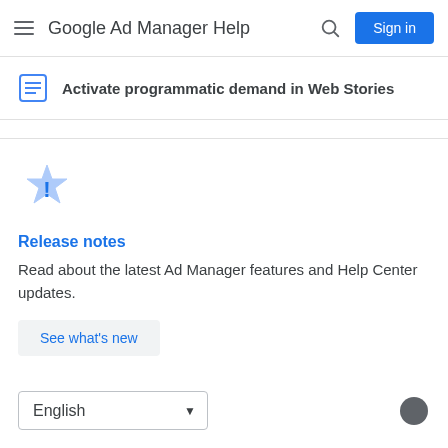Google Ad Manager Help
Activate programmatic demand in Web Stories
Release notes
Read about the latest Ad Manager features and Help Center updates.
See what's new
English